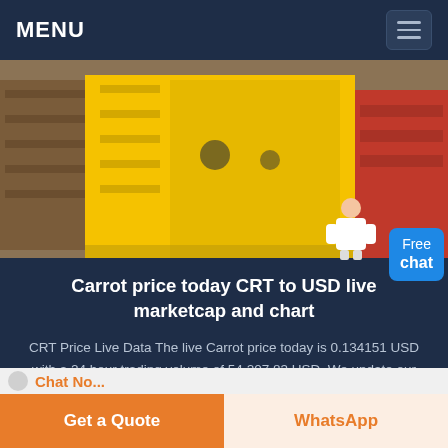MENU
[Figure (photo): Industrial yellow machinery/equipment (jaw crusher) in a warehouse setting with brown shelving units on the left and red equipment visible on the right.]
Carrot price today CRT to USD live marketcap and chart
CRT Price Live Data The live Carrot price today is 0.134151 USD with a 24 hour trading volume of 54 207.83 USD. We update our CRT to USD price in real time Carrot is down 7.12 in the last 24 hours The...
Chat No...
Get a Quote
WhatsApp